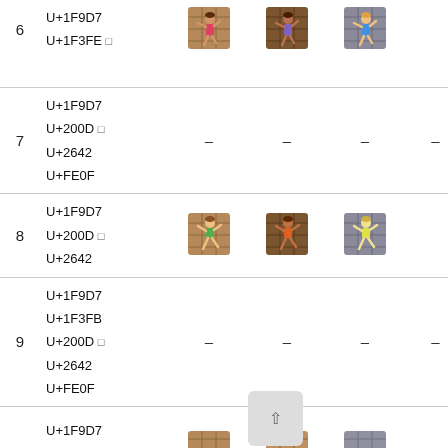| # | Code Points | Col1 | Col2 | Col3 | Col4 |
| --- | --- | --- | --- | --- | --- |
| 6 | U+1F9D7
U+1F3FE □ | [emoji] | [emoji] | [emoji] |  |
| 7 | U+1F9D7
U+200D □
U+2642
U+FE0F | - | - | - | - |
| 8 | U+1F9D7
U+200D □
U+2642 | [emoji] | [emoji] | [emoji] |  |
| 9 | U+1F9D7
U+1F3FB
U+200D □
U+2642
U+FE0F | - | - | - | - |
| 10 | U+1F9D7
U+1F3FB | [emoji] | [emoji] | [emoji] |  |